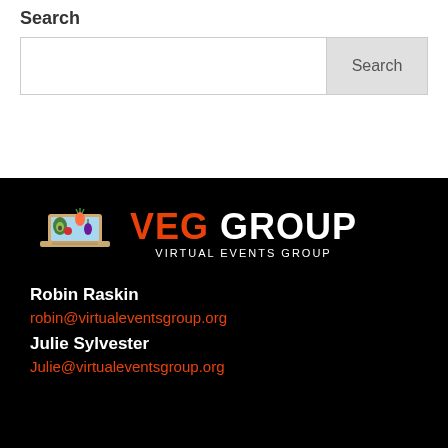Search
[Figure (screenshot): Search input box with a Search button on the right]
[Figure (logo): VEG GROUP - Virtual Events Group logo with laptop and vegetable illustration]
Robin Raskin
robin@virtualeventsgroup.org
Julie Sylvester
Julie@virtualeventsgroup.org